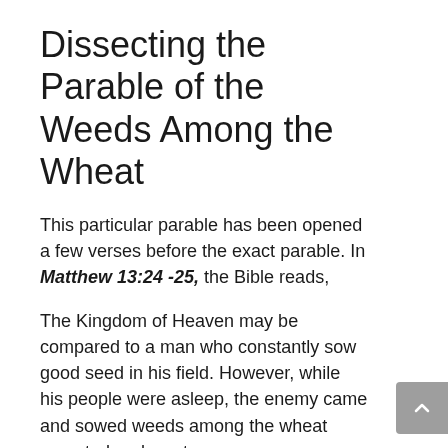Dissecting the Parable of the Weeds Among the Wheat
This particular parable has been opened a few verses before the exact parable. In Matthew 13:24 -25, the Bible reads,
The Kingdom of Heaven may be compared to a man who constantly sow good seed in his field. However, while his people were asleep, the enemy came and sowed weeds among the wheat sprouted and went away.
So what do all these things mean? To give you a better understanding of it, let's dissect the seven (7) elements involved in this